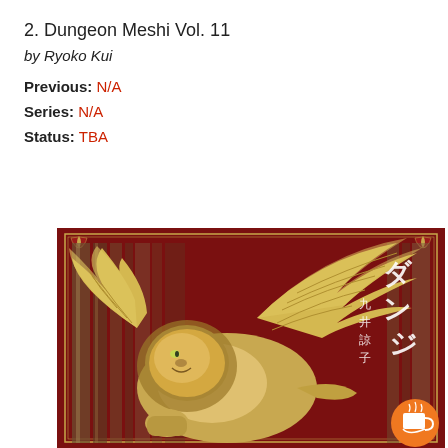2. Dungeon Meshi Vol. 11
by Ryoko Kui
Previous: N/A
Series: N/A
Status: TBA
[Figure (illustration): Manga book cover for Dungeon Meshi Vol. 11 featuring a winged lion (griffin) creature with golden feathers and mane against a dark red ornate background with Japanese text and author name Ryoko Kui. An orange coffee cup icon badge is overlaid in the bottom right corner.]